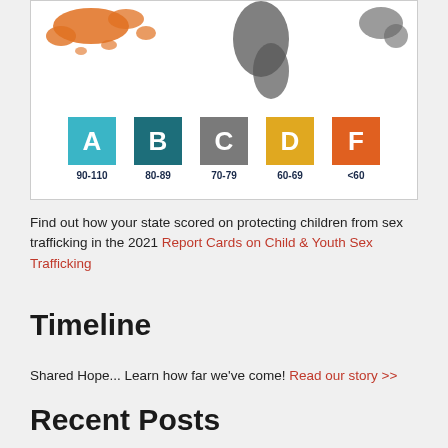[Figure (infographic): World map showing grade distribution for child sex trafficking protection scores, with grade legend: A 90-110, B 80-89, C 70-79, D 60-69, F <60. Orange highlights certain regions (e.g., Pacific islands/Southeast Asia), grey highlights other regions (e.g., Americas).]
Find out how your state scored on protecting children from sex trafficking in the 2021 Report Cards on Child & Youth Sex Trafficking
Timeline
Shared Hope... Learn how far we've come! Read our story >>
Recent Posts